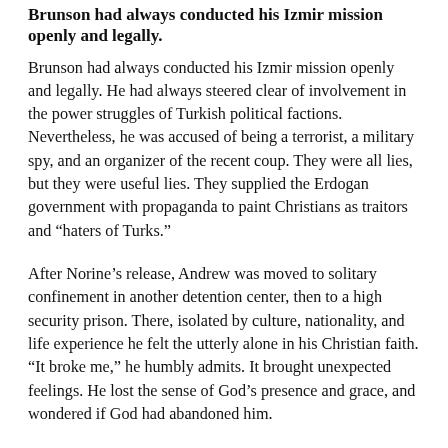Brunson had always conducted his Izmir mission openly and legally.
Brunson had always conducted his Izmir mission openly and legally. He had always steered clear of involvement in the power struggles of Turkish political factions. Nevertheless, he was accused of being a terrorist, a military spy, and an organizer of the recent coup. They were all lies, but they were useful lies. They supplied the Erdogan government with propaganda to paint Christians as traitors and “haters of Turks.”
After Norine’s release, Andrew was moved to solitary confinement in another detention center, then to a high security prison. There, isolated by culture, nationality, and life experience he felt the utterly alone in his Christian faith. “It broke me,” he humbly admits. It brought unexpected feelings. He lost the sense of God’s presence and grace, and wondered if God had abandoned him.
It was in the middle of these dark days that he discovered a truth that he is now sharing with anyone who will listen: